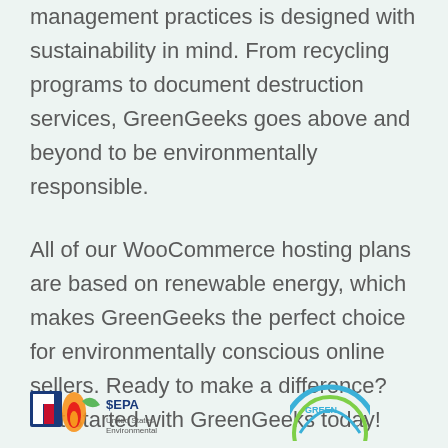management practices is designed with sustainability in mind. From recycling programs to document destruction services, GreenGeeks goes above and beyond to be environmentally responsible.
All of our WooCommerce hosting plans are based on renewable energy, which makes GreenGeeks the perfect choice for environmentally conscious online sellers. Ready to make a difference? Get started with GreenGeeks today!
[Figure (logo): EPA logo with flame/leaf icon and SEPA text, and partial circular logo on the right]